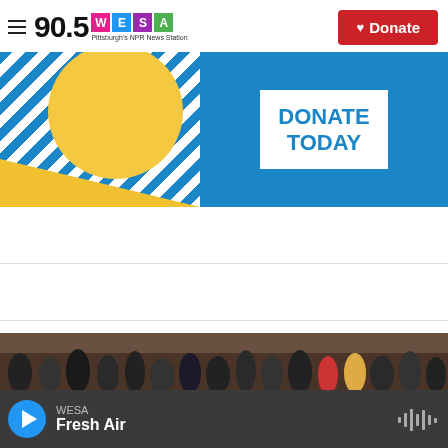90.5 WESA Pittsburgh's NPR News Station
[Figure (infographic): Donate Today promotional banner with blue background, diagonal stripe pattern, yellow circle, and white text box reading DONATE TODAY]
[Figure (photo): Wide photo of a crowd of people standing outdoors, appears to be a public gathering]
WESA Fresh Air — audio player bar with play button and waveform icon